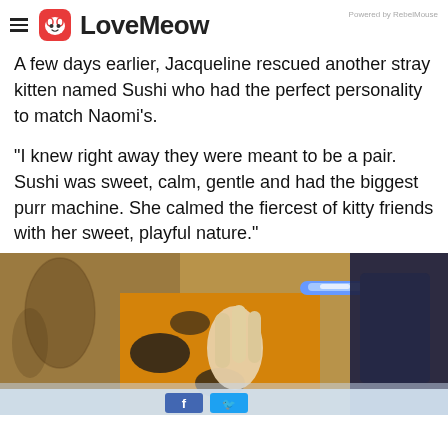LoveMeow — Powered by RebelMouse
A few days earlier, Jacqueline rescued another stray kitten named Sushi who had the perfect personality to match Naomi's.
"I knew right away they were meant to be a pair. Sushi was sweet, calm, gentle and had the biggest purr machine. She calmed the fiercest of kitty friends with her sweet, playful nature."
[Figure (photo): A close-up photo showing a person's hand/fingers near a cat with a blue glowing collar or accessory, with dark and tan/orange colored background elements suggestive of cat fur or fabric.]